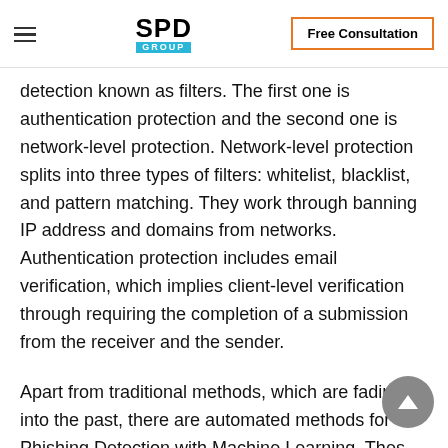SPD GROUP | Free Consultation
detection known as filters. The first one is authentication protection and the second one is network-level protection. Network-level protection splits into three types of filters: whitelist, blacklist, and pattern matching. They work through banning IP address and domains from networks. Authentication protection includes email verification, which implies client-level verification through requiring the completion of a submission from the receiver and the sender.
Apart from traditional methods, which are fading into the past, there are automated methods for Phishing Detection with Machine Learning. Thes...